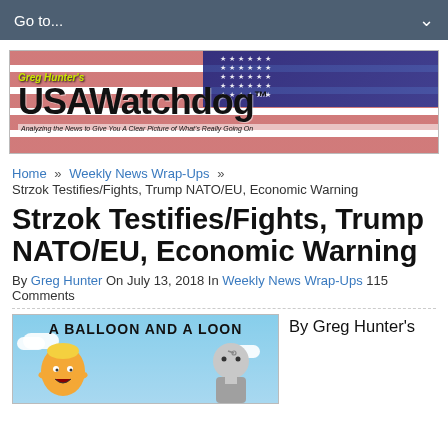Go to...
[Figure (illustration): Greg Hunter's USAWatchdog banner with American flag background. Tagline: Analyzing the News to Give You A Clear Picture of What's Really Going On]
Home » Weekly News Wrap-Ups » Strzok Testifies/Fights, Trump NATO/EU, Economic Warning
Strzok Testifies/Fights, Trump NATO/EU, Economic Warning
By Greg Hunter On July 13, 2018 In Weekly News Wrap-Ups 115 Comments
[Figure (illustration): Cartoon image with text 'A BALLOON AND A LOON' showing caricatures, with caption 'By Greg Hunter's']
By Greg Hunter's